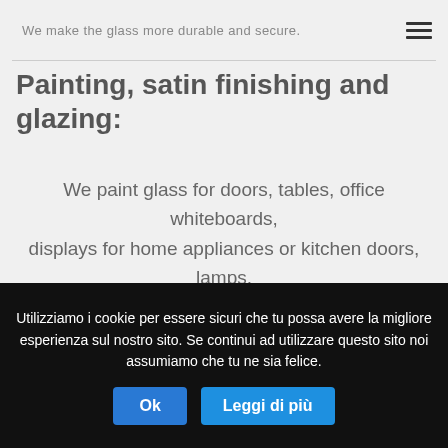We make the glass more durable and secure.
Painting, satin finishing and glazing:
We paint glass for doors, tables, office whiteboards, displays for home appliances or kitchen doors, lamps, furniture covering, billboards, signs etc.
Printing decoration:
Utilizziamo i cookie per essere sicuri che tu possa avere la migliore esperienza sul nostro sito. Se continui ad utilizzare questo sito noi assumiamo che tu ne sia felice.